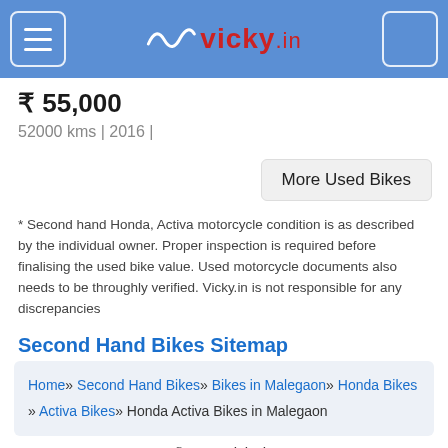vicky.in
₹ 55,000
52000 kms | 2016 |
More Used Bikes
* Second hand Honda, Activa motorcycle condition is as described by the individual owner. Proper inspection is required before finalising the used bike value. Used motorcycle documents also needs to be throughly verified. Vicky.in is not responsible for any discrepancies
Second Hand Bikes Sitemap
Home» Second Hand Bikes» Bikes in Malegaon» Honda Bikes » Activa Bikes» Honda Activa Bikes in Malegaon
© 2022 vicky.in